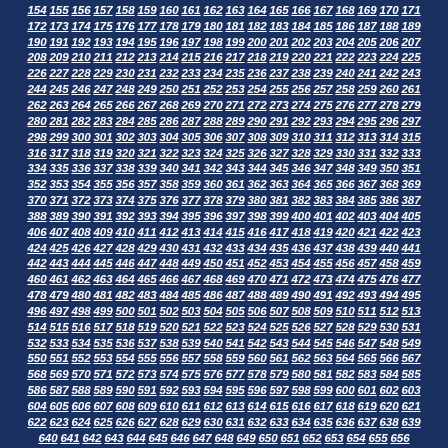Sequential numbers from 154 to 656, displayed as underlined italic bold white links on a dark blue background, arranged in rows of 19 numbers each.